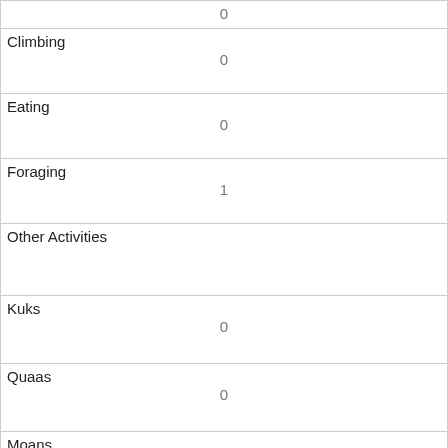| Activity | Count |
| --- | --- |
| (top row value) | 0 |
| Climbing | 0 |
| Eating | 0 |
| Foraging | 1 |
| Other Activities |  |
| Kuks | 0 |
| Quaas | 0 |
| Moans | 0 |
| Tail flags | 0 |
| Tail twitches | 1 |
| Approaches | 0 |